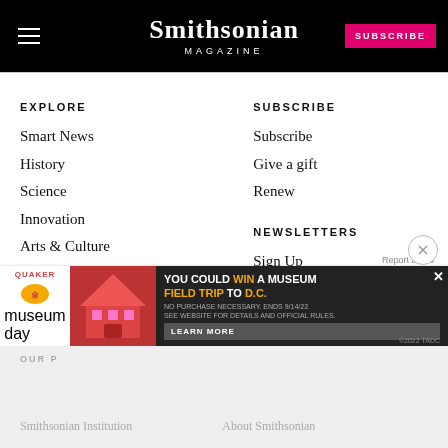Smithsonian Magazine — SUBSCRIBE
EXPLORE
Smart News
History
Science
Innovation
Arts & Culture
Travel
At The Smithsonian
Photos
Video
Games
SUBSCRIBE
Subscribe
Give a gift
Renew
NEWSLETTERS
Sign Up
OUR P
Report an ad
[Figure (screenshot): Quaker advertisement: YOU COULD WIN A MUSEUM FIELD TRIP TO D.C. — LEARN MORE]
Smithsonian Institution
About Smithsonian